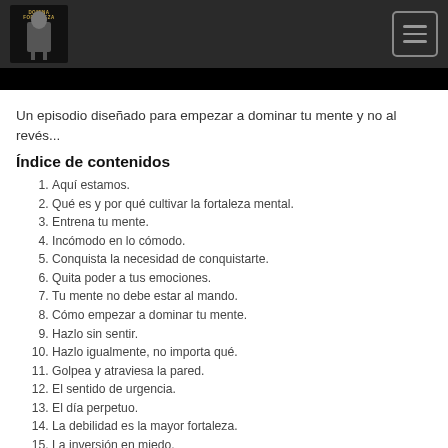Un episodio diseñado para empezar a dominar tu mente y no al revés...
Índice de contenidos
1. Aquí estamos.
2. Qué es y por qué cultivar la fortaleza mental.
3. Entrena tu mente.
4. Incómodo en lo cómodo.
5. Conquista la necesidad de conquistarte.
6. Quita poder a tus emociones.
7. Tu mente no debe estar al mando.
8. Cómo empezar a dominar tu mente.
9. Hazlo sin sentir.
10. Hazlo igualmente, no importa qué.
11. Golpea y atraviesa la pared.
12. El sentido de urgencia.
13. El día perpetuo.
14. La debilidad es la mayor fortaleza.
15. La inversión en miedo.